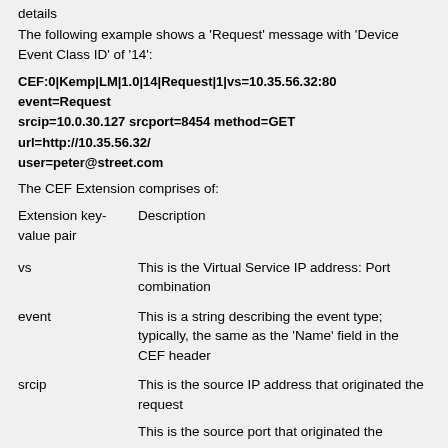details
The following example shows a 'Request' message with 'Device Event Class ID' of '14':
CEF:0|Kemp|LM|1.0|14|Request|1|vs=10.35.56.32:80 event=Request srcip=10.0.30.127 srcport=8454 method=GET url=http://10.35.56.32/ user=peter@street.com
The CEF Extension comprises of:
| Extension key-value pair | Description |
| --- | --- |
| vs | This is the Virtual Service IP address: Port combination |
| event | This is a string describing the event type; typically, the same as the 'Name' field in the CEF header |
| srcip | This is the source IP address that originated the request |
|  | This is the source port that originated the |